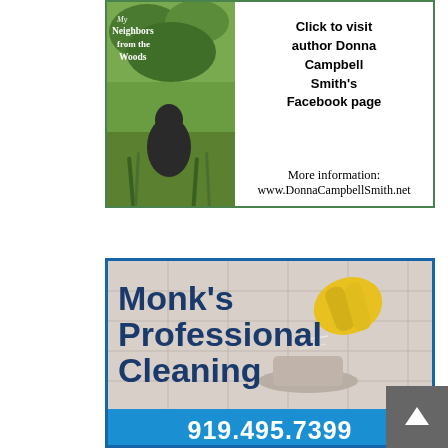[Figure (illustration): Advertisement for book 'My Neighbors from the Woods' by Donna Campbell Smith. Shows book cover with green background and animal figure, text 'Click to visit author Donna Campbell Smith's Facebook page', and website www.DonnaCampbellSmith.net]
[Figure (illustration): Advertisement for Monk's Professional Cleaning showing bathroom cleaning photo with yellow gloved hand, bold dark blue text on photo background, and phone number 919.495.7399 on blue bar]